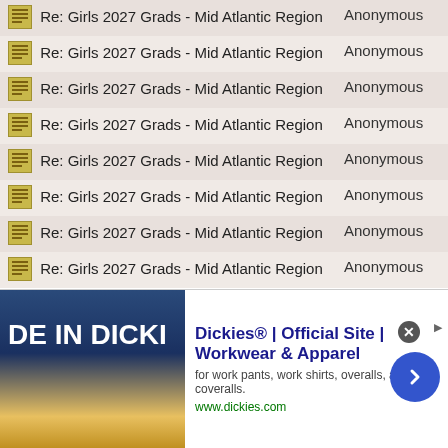| Subject | Author |
| --- | --- |
| Re: Girls 2027 Grads - Mid Atlantic Region | Anonymous |
| Re: Girls 2027 Grads - Mid Atlantic Region | Anonymous |
| Re: Girls 2027 Grads - Mid Atlantic Region | Anonymous |
| Re: Girls 2027 Grads - Mid Atlantic Region | Anonymous |
| Re: Girls 2027 Grads - Mid Atlantic Region | Anonymous |
| Re: Girls 2027 Grads - Mid Atlantic Region | Anonymous |
| Re: Girls 2027 Grads - Mid Atlantic Region | Anonymous |
| Re: Girls 2027 Grads - Mid Atlantic Region | Anonymous |
[Figure (other): Advertisement banner for Dickies workwear showing 'DE IN DICKI' text overlay on image, with headline 'Dickies® | Official Site | Workwear & Apparel', description 'for work pants, work shirts, overalls, and coveralls.', URL 'www.dickies.com', close button and forward arrow]